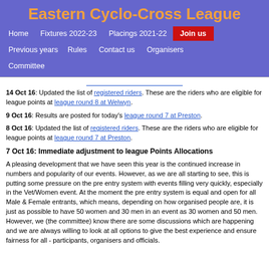Eastern Cyclo-Cross League
Home | Fixtures 2022-23 | Placings 2021-22 | Join us | Previous years | Rules | Contact us | Organisers | Committee
[truncated navigation link line]
14 Oct 16: Updated the list of registered riders. These are the riders who are eligible for league points at league round 8 at Welwyn.
9 Oct 16: Results are posted for today's league round 7 at Preston.
8 Oct 16: Updated the list of registered riders. These are the riders who are eligible for league points at league round 7 at Preston.
7 Oct 16: Immediate adjustment to league Points Allocations
A pleasing development that we have seen this year is the continued increase in numbers and popularity of our events. However, as we are all starting to see, this is putting some pressure on the pre entry system with events filling very quickly, especially in the Vet/Women event. At the moment the pre entry system is equal and open for all Male & Female entrants, which means, depending on how organised people are, it is just as possible to have 50 women and 30 men in an event as 30 women and 50 men. However, we (the committee) know there are some discussions which are happening and we are always willing to look at all options to give the best experience and ensure fairness for all - participants, organisers and officials.